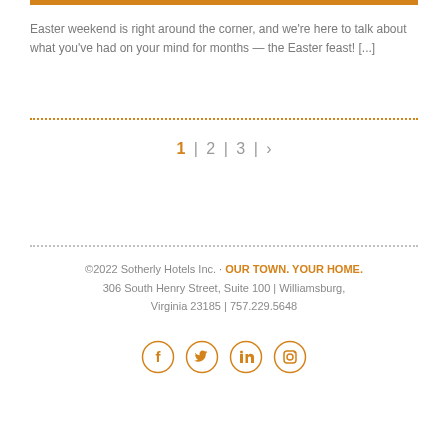Easter weekend is right around the corner, and we're here to talk about what you've had on your mind for months — the Easter feast! [...]
1 | 2 | 3 | ›
©2022 Sotherly Hotels Inc. • OUR TOWN. YOUR HOME. 306 South Henry Street, Suite 100 | Williamsburg, Virginia 23185 | 757.229.5648
[Figure (illustration): Social media icons: Facebook, Twitter, LinkedIn, Instagram — all in orange circle outlines]